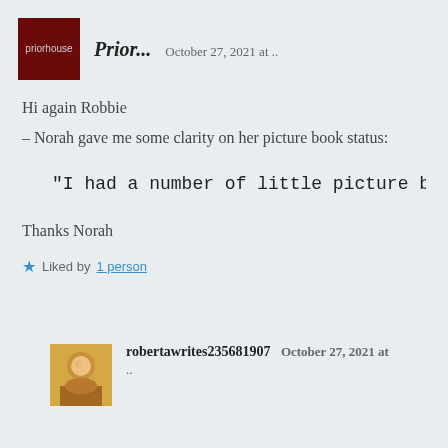[Figure (photo): Dark red square avatar with 'priorhouse' text in small white letters]
Prior...   October 27, 2021 at ..
Hi again Robbie
– Norah gave me some clarity on her picture book status:
"I had a number of little picture b
Thanks Norah
Liked by 1 person
[Figure (photo): Small avatar photo of a person, warm golden background]
robertawrites235681907   October 27, 2021 at ..